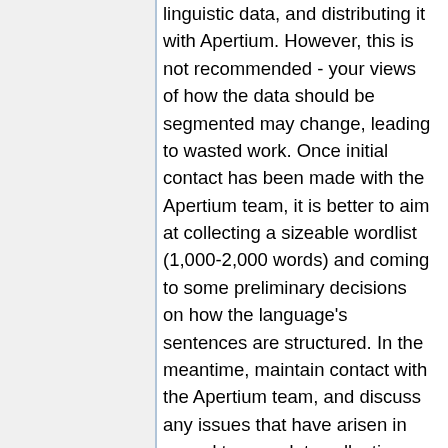linguistic data, and distributing it with Apertium. However, this is not recommended - your views of how the data should be segmented may change, leading to wasted work. Once initial contact has been made with the Apertium team, it is better to aim at collecting a sizeable wordlist (1,000-2,000 words) and coming to some preliminary decisions on how the language's sentences are structured. In the meantime, maintain contact with the Apertium team, and discuss any issues that have arisen in regard to your data collection.
You will have a good idea of how the language works from your own knowledge of it, and from reviewing published materials (eg dictionaries, grammars) about it. From this you can decide on the particular parts of...